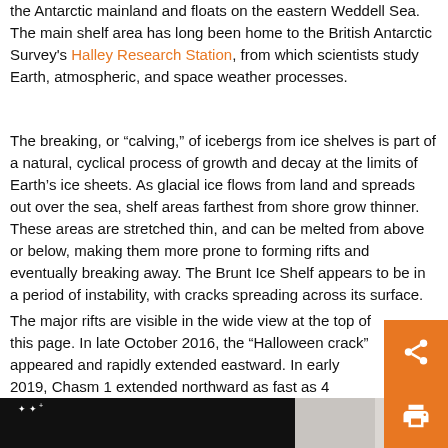the Antarctic mainland and floats on the eastern Weddell Sea. The main shelf area has long been home to the British Antarctic Survey's Halley Research Station, from which scientists study Earth, atmospheric, and space weather processes.
The breaking, or “calving,” of icebergs from ice shelves is part of a natural, cyclical process of growth and decay at the limits of Earth’s ice sheets. As glacial ice flows from land and spreads out over the sea, shelf areas farthest from shore grow thinner. These areas are stretched thin, and can be melted from above or below, making them more prone to forming rifts and eventually breaking away. The Brunt Ice Shelf appears to be in a period of instability, with cracks spreading across its surface.
The major rifts are visible in the wide view at the top of this page. In late October 2016, the “Halloween crack” appeared and rapidly extended eastward. In early 2019, Chasm 1 extended northward as fast as 4 kilometers per year. Now, a new crack is zippering across the shelf north of the Halloween crack, far faster than the fissure to the south.
[Figure (photo): Partially visible dark satellite image of the Brunt Ice Shelf at bottom left, with grey/white textured ice surface visible on the right side.]